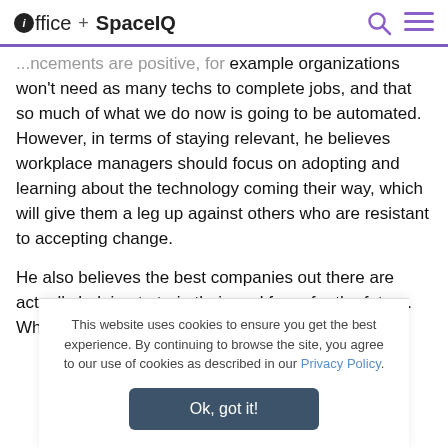ioffice + SpaceIQ
...ncements are positive, for example organizations won't need as many techs to complete jobs, and that so much of what we do now is going to be automated. However, in terms of staying relevant, he believes workplace managers should focus on adopting and learning about the technology coming their way, which will give them a leg up against others who are resistant to accepting change.
He also believes the best companies out there are actually helping to train their workforce for the future. When Scottie
This website uses cookies to ensure you get the best experience. By continuing to browse the site, you agree to our use of cookies as described in our Privacy Policy.
Ok, got it!